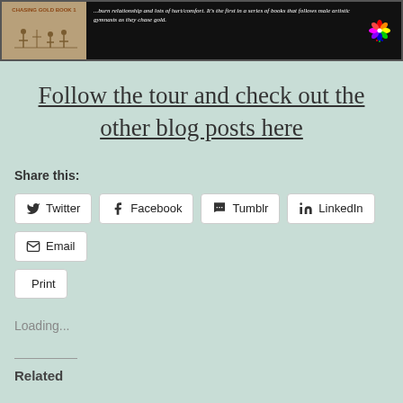[Figure (illustration): Book banner with dark background showing book cover for 'Chasing Gold Book 1' on the left with gymnasts silhouette illustration, italic descriptive text on the right about male artistic gymnasts, and a rainbow pinwheel/flower icon]
Follow the tour and check out the other blog posts here
Share this:
Twitter  Facebook  Tumblr  LinkedIn  Email
Print
Loading...
Related